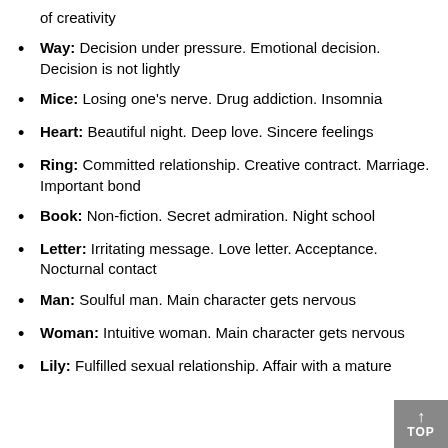of creativity
Way: Decision under pressure. Emotional decision. Decision is not lightly
Mice: Losing one's nerve. Drug addiction. Insomnia
Heart: Beautiful night. Deep love. Sincere feelings
Ring: Committed relationship. Creative contract. Marriage. Important bond
Book: Non-fiction. Secret admiration. Night school
Letter: Irritating message. Love letter. Acceptance. Nocturnal contact
Man: Soulful man. Main character gets nervous
Woman: Intuitive woman. Main character gets nervous
Lily: Fulfilled sexual relationship. Affair with a mature